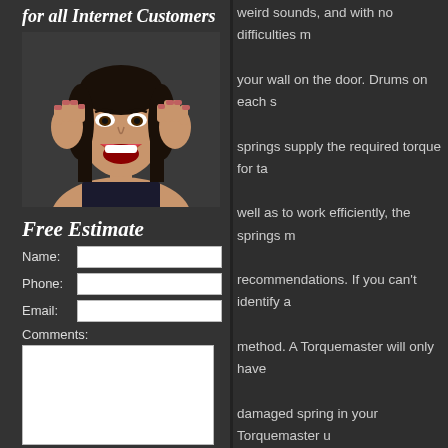for all Internet Customers
[Figure (photo): Excited young woman with dark hair, hands raised near her face, mouth open in excitement, against a dark background]
Free Estimate
Name: [input] Phone: [input] Email: [input] Comments: [textarea] SUBMIT
weird sounds, and with no difficulties m your wall on the door. Drums on each s springs supply the required torque for ta well as to work efficiently, the springs m recommendations. If you can't identify a method. A Torquemaster will only have damaged spring in your Torquemaster u hand. Be sure that the door is all the wa really wants to drop as you lift it, there's effortlessly. They're just important to the door and elevate it. If they ever crack, y and wish for urgent spring garage door
We are aware that a broken spring is